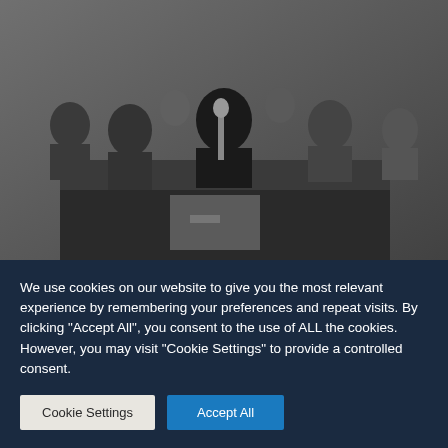[Figure (photo): Black and white historical photograph of U.S. President John F. Kennedy signing a document at a desk, surrounded by officials and dignitaries.]
U.S. President John F. Kennedy signs the document ratifying the 1963 nuclear test ban treaty. There have been more than two dozen treaties and agreements governing the production, storage, distribution and use of nuclear weapons.
EVERETT COLLECTION HISTORICAL/ALAMY/D18JPY
We use cookies on our website to give you the most relevant experience by remembering your preferences and repeat visits. By clicking "Accept All", you consent to the use of ALL the cookies. However, you may visit "Cookie Settings" to provide a controlled consent.